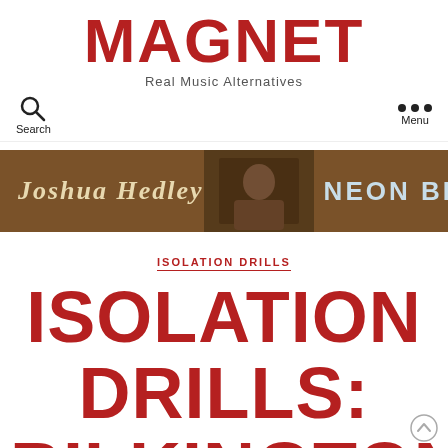MAGNET
Real Music Alternatives
Search  Menu
[Figure (infographic): Joshua Hedley Neon Blue advertisement banner with brown background, artist photo in center]
ISOLATION DRILLS
ISOLATION DRILLS: BILKINGTON